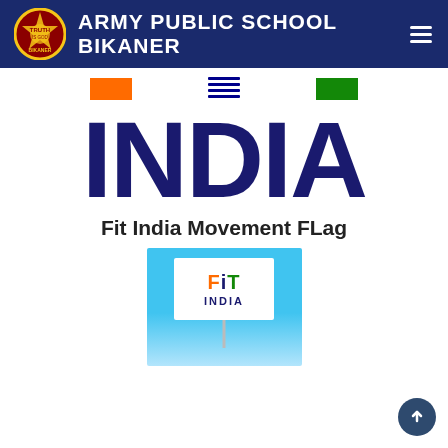ARMY PUBLIC SCHOOL BIKANER
[Figure (illustration): Indian flag color swatches (orange, Ashoka wheel motif, green) shown as decorative strip below header]
INDIA
Fit India Movement FLag
[Figure (logo): Fit India Movement flag logo: white flag with 'FIT INDIA' text (F in orange, I in navy, T in green) on a light blue background with flag pole]